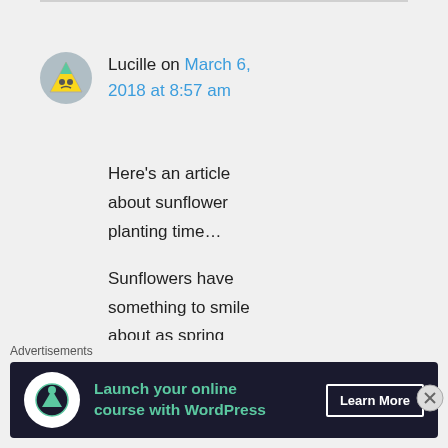Lucille on March 6, 2018 at 8:57 am
Here's an article about sunflower planting time…

Sunflowers have something to smile about as spring planting nears http://www.capjournal.com/sunflowers-
Advertisements
[Figure (screenshot): Advertisement banner: Launch your online course with WordPress. Learn More button. Dark background with green text and white icon.]